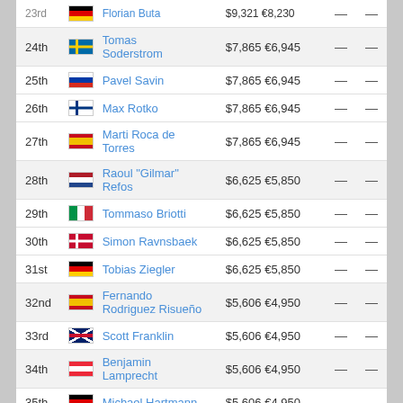| Place | Country | Player | Prize |  |  |
| --- | --- | --- | --- | --- | --- |
| 24th | SE | Tomas Soderstrom | $7,865 €6,945 | — | — |
| 25th | RU | Pavel Savin | $7,865 €6,945 | — | — |
| 26th | FI | Max Rotko | $7,865 €6,945 | — | — |
| 27th | ES | Marti Roca de Torres | $7,865 €6,945 | — | — |
| 28th | NL | Raoul "Gilmar" Refos | $6,625 €5,850 | — | — |
| 29th | IT | Tommaso Briotti | $6,625 €5,850 | — | — |
| 30th | DK | Simon Ravnsbaek | $6,625 €5,850 | — | — |
| 31st | DE | Tobias Ziegler | $6,625 €5,850 | — | — |
| 32nd | ES | Fernando Rodriguez Risueño | $5,606 €4,950 | — | — |
| 33rd | GB | Scott Franklin | $5,606 €4,950 | — | — |
| 34th | AT | Benjamin Lamprecht | $5,606 €4,950 | — | — |
| 35th | DE | Michael Hartmann | $5,606 €4,950 | — | — |